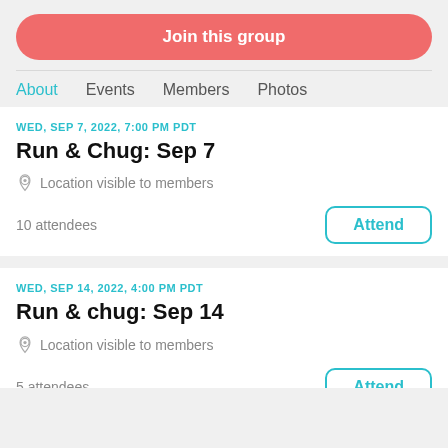Join this group
About   Events   Members   Photos
WED, SEP 7, 2022, 7:00 PM PDT
Run & Chug: Sep 7
Location visible to members
10 attendees
Attend
WED, SEP 14, 2022, 4:00 PM PDT
Run & chug: Sep 14
Location visible to members
5 attendees
Attend